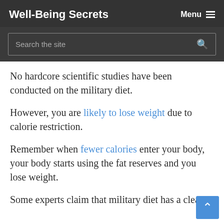Well-Being Secrets   Menu ☰
Search the site
No hardcore scientific studies have been conducted on the military diet.
However, you are likely to lose weight due to calorie restriction.
Remember when fewer calories enter your body, your body starts using the fat reserves and you lose weight.
Some experts claim that military diet has a clear